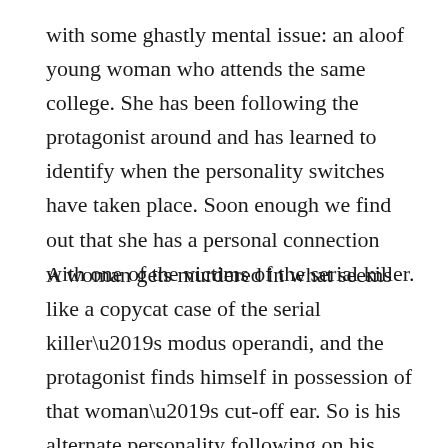with some ghastly mental issue: an aloof young woman who attends the same college. She has been following the protagonist around and has learned to identify when the personality switches have taken place. Soon enough we find out that she has a personal connection with one of the victims of the serial killer.
A woman gets murdered in what seems like a copycat case of the serial killer’s modus operandi, and the protagonist finds himself in possession of that woman’s cut-off ear. So is his alternate personality following on his father’s footsteps, or has someone framed him? The clues lead him to the nasty gang that has welcomed him. Helped by the weird girl from before, the protagonist will try to figure out if he’s innocent or if he’s truly the